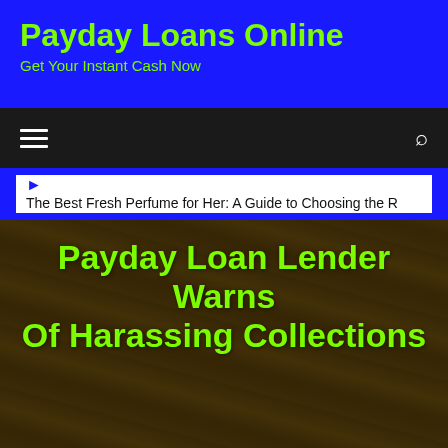Payday Loans Online
Get Your Instant Cash Now
[Figure (screenshot): Navigation bar with hamburger menu icon on the left and search icon on the right, dark background]
The Best Fresh Perfume for Her: A Guide to Choosing the R
Payday Loan Lender Warns Of Harassing Collections
Home > Payday Loans >
Payday Loan Lender Warns Of Harassing Collecti...